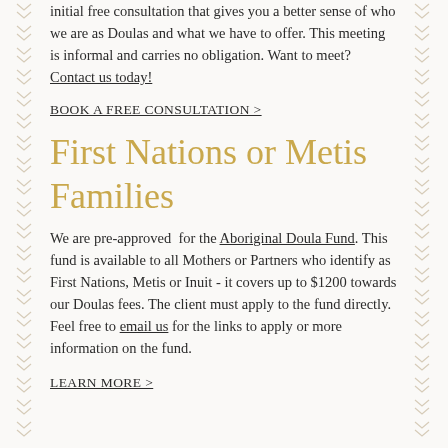initial free consultation that gives you a better sense of who we are as Doulas and what we have to offer. This meeting is informal and carries no obligation. Want to meet? Contact us today!
BOOK A FREE CONSULTATION >
First Nations or Metis Families
We are pre-approved for the Aboriginal Doula Fund. This fund is available to all Mothers or Partners who identify as First Nations, Metis or Inuit - it covers up to $1200 towards our Doulas fees. The client must apply to the fund directly. Feel free to email us for the links to apply or more information on the fund.
LEARN MORE >